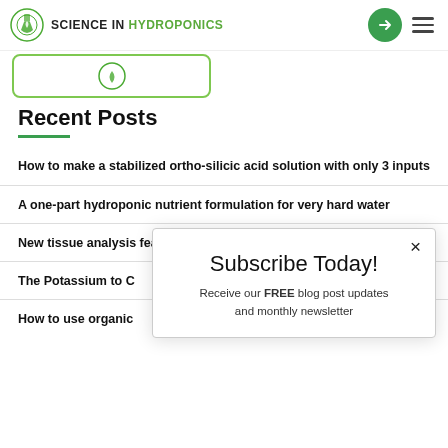SCIENCE IN HYDROPONICS
[Figure (logo): Science in Hydroponics logo with flask and leaf icon]
Recent Posts
How to make a stabilized ortho-silicic acid solution with only 3 inputs
A one-part hydroponic nutrient formulation for very hard water
New tissue analysis feature in HydroBuddy v1.99
The Potassium to C
How to use organic
Subscribe Today!
Receive our FREE blog post updates and monthly newsletter